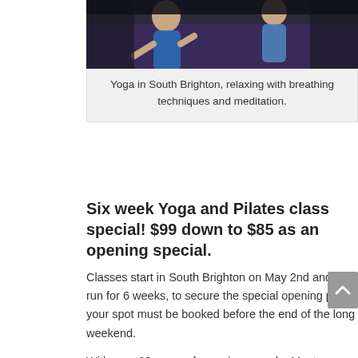[Figure (photo): Yoga class photo showing people doing yoga poses on purple mats in South Brighton]
Yoga in South Brighton, relaxing with breathing techniques and meditation.
Six week Yoga and Pilates class special!  $99 down to $85 as an opening special.
Classes start in South Brighton on May 2nd and will run for 6 weeks, to secure the special opening price your spot must be booked before the end of the long weekend.
With over 20 years of experience and a Master Rehab Trainer; Nicki Jennison has brought a brand new Yoga and Pilates Studio to South Brighton.
After a fantastic opening last weekend; small personal yoga and pilates classes are busily filling up.  Each class has a maximum of 6 participants allowing for individualised attention.  You will get maximum benefit from the classes through the lot...